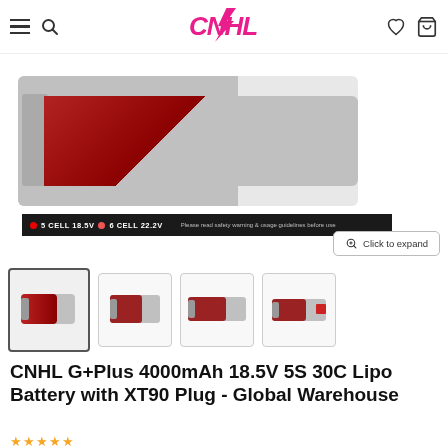CNHL store header with hamburger menu, search icon, CNHL logo, heart icon, and cart icon
[Figure (photo): CNHL G+Plus LiPo battery product image showing the battery with red/silver casing, with a dark label bar reading '5 CELL 18.5V  6 CELL 22.2V  Please read safety warning & usage guidelines before use']
[Figure (photo): Four product thumbnail images of CNHL G+Plus LiPo batteries from different angles; first thumbnail is selected/active]
CNHL G+Plus 4000mAh 18.5V 5S 30C Lipo Battery with XT90 Plug - Global Warehouse